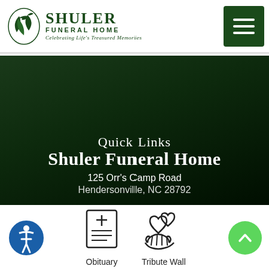[Figure (logo): Shuler Funeral Home logo with bird and leaf emblem, dark green text reading SHULER FUNERAL HOME, tagline Celebrating Life's Treasured Memories]
[Figure (other): Dark green hamburger menu button icon]
Quick Links
Shuler Funeral Home
125 Orr's Camp Road
Hendersonville, NC 28792
[Figure (other): Accessibility wheelchair icon in blue circle]
[Figure (other): Obituary icon - document with cross]
Obituary
[Figure (other): Tribute Wall icon - hands holding hearts]
Tribute Wall
[Figure (other): Scroll to top button - green circle with upward chevron]